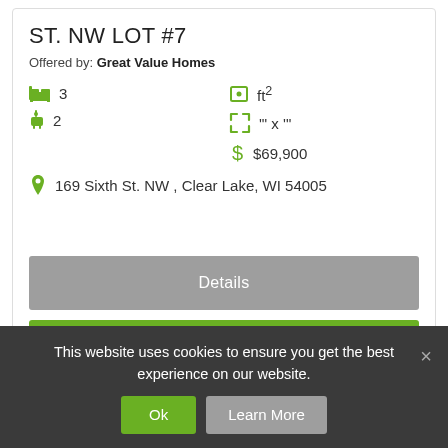ST. NW LOT #7
Offered by: Great Value Homes
3 bedrooms | ft² | 2 bathrooms | '" x '" | $69,900
169 Sixth St. NW , Clear Lake, WI 54005
Details
Get Pricing
This website uses cookies to ensure you get the best experience on our website.
Ok
Learn More